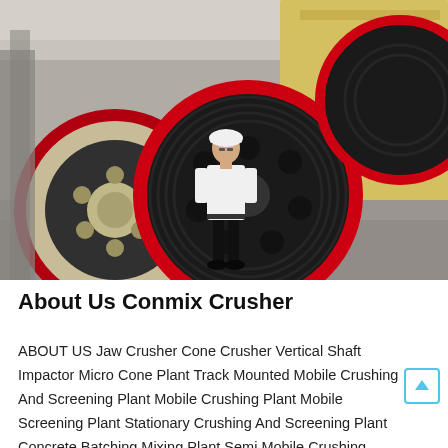[Figure (photo): A man wearing a white hard hat and white shirt standing in an industrial factory floor in front of large heavy machinery flywheels with red rims and black rubber, in a facility with a yellow machine frame in the background.]
About Us Conmix Crusher
ABOUT US Jaw Crusher Cone Crusher Vertical Shaft Impactor Micro Cone Plant Track Mounted Mobile Crushing And Screening Plant Mobile Crushing Plant Mobile Screening Plant Stationary Crushing And Screening Plant Concrete Batching Mixing Plant Semi Mobile Crushing